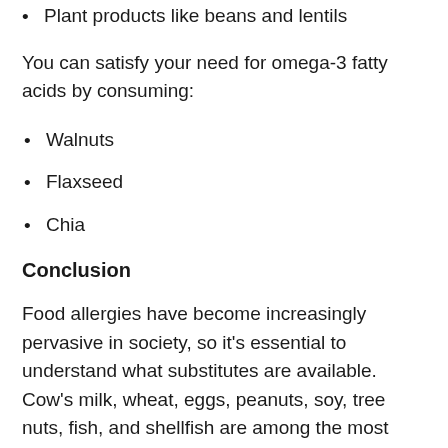Plant products like beans and lentils
You can satisfy your need for omega-3 fatty acids by consuming:
Walnuts
Flaxseed
Chia
Conclusion
Food allergies have become increasingly pervasive in society, so it's essential to understand what substitutes are available. Cow's milk, wheat, eggs, peanuts, soy, tree nuts, fish, and shellfish are among the most common foods that cause reactions. Fortunately, grocery and health food stores